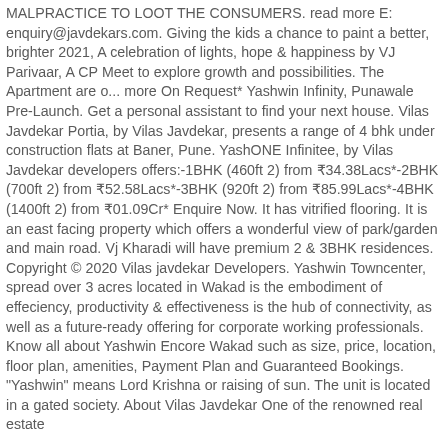MALPRACTICE TO LOOT THE CONSUMERS. read more E: enquiry@javdekars.com. Giving the kids a chance to paint a better, brighter 2021, A celebration of lights, hope & happiness by VJ Parivaar, A CP Meet to explore growth and possibilities. The Apartment are o... more On Request* Yashwin Infinity, Punawale Pre-Launch. Get a personal assistant to find your next house. Vilas Javdekar Portia, by Vilas Javdekar, presents a range of 4 bhk under construction flats at Baner, Pune. YashONE Infinitee, by Vilas Javdekar developers offers:-1BHK (460ft 2) from ₹34.38Lacs*-2BHK (700ft 2) from ₹52.58Lacs*-3BHK (920ft 2) from ₹85.99Lacs*-4BHK (1400ft 2) from ₹01.09Cr* Enquire Now. It has vitrified flooring. It is an east facing property which offers a wonderful view of park/garden and main road. Vj Kharadi will have premium 2 & 3BHK residences. Copyright © 2020 Vilas javdekar Developers. Yashwin Towncenter, spread over 3 acres located in Wakad is the embodiment of effeciency, productivity & effectiveness is the hub of connectivity, as well as a future-ready offering for corporate working professionals. Know all about Yashwin Encore Wakad such as size, price, location, floor plan, amenities, Payment Plan and Guaranteed Bookings. "Yashwin" means Lord Krishna or raising of sun. The unit is located in a gated society. About Vilas Javdekar One of the renowned real estate